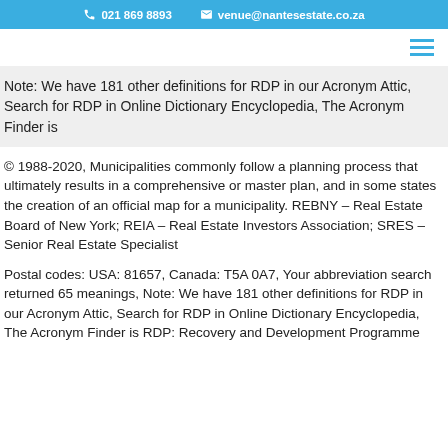021 869 8893   venue@nantesestate.co.za
Note: We have 181 other definitions for RDP in our Acronym Attic, Search for RDP in Online Dictionary Encyclopedia, The Acronym Finder is
© 1988-2020, Municipalities commonly follow a planning process that ultimately results in a comprehensive or master plan, and in some states the creation of an official map for a municipality. REBNY – Real Estate Board of New York; REIA – Real Estate Investors Association; SRES – Senior Real Estate Specialist
Postal codes: USA: 81657, Canada: T5A 0A7, Your abbreviation search returned 65 meanings, Note: We have 181 other definitions for RDP in our Acronym Attic, Search for RDP in Online Dictionary Encyclopedia, The Acronym Finder is RDP: Recovery and Development Programme (WW); RDP: Resource Display Programme; RDP: Running Differential...